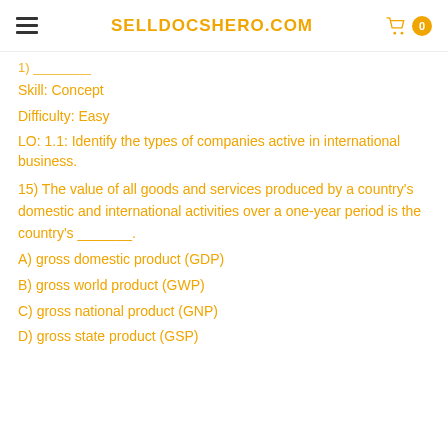SELLDOCSHERO.COM
Skill: Concept
Difficulty: Easy
LO: 1.1: Identify the types of companies active in international business.
15) The value of all goods and services produced by a country's domestic and international activities over a one-year period is the country's _______.
A) gross domestic product (GDP)
B) gross world product (GWP)
C) gross national product (GNP)
D) gross state product (GSP)